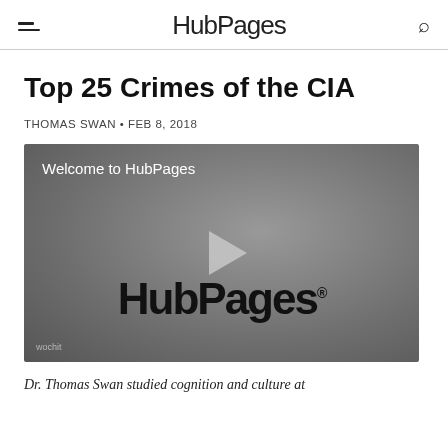HubPages
Top 25 Crimes of the CIA
THOMAS SWAN • FEB 8, 2018
[Figure (screenshot): Video player showing HubPages welcome video with HubPages logo and play button. Watermark: wochit]
Dr. Thomas Swan studied cognition and culture at